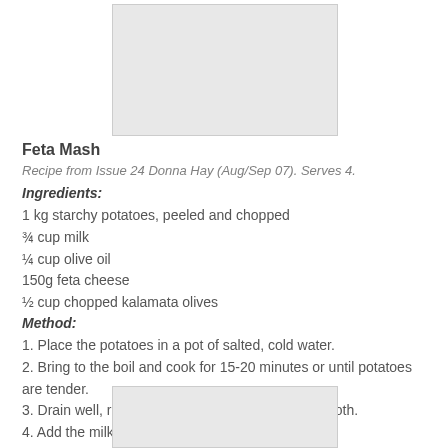[Figure (photo): Photo placeholder at top of page]
Feta Mash
Recipe from Issue 24 Donna Hay (Aug/Sep 07). Serves 4.
Ingredients:
1 kg starchy potatoes, peeled and chopped
¾ cup milk
¼ cup olive oil
150g feta cheese
½ cup chopped kalamata olives
Method:
1. Place the potatoes in a pot of salted, cold water.
2. Bring to the boil and cook for 15-20 minutes or until potatoes are tender.
3. Drain well, return to the pan and mash until smooth.
4. Add the milk and oil and stir to combine.
5. Stir in the feta, olives, salt and pepper then serve.
[Figure (photo): Photo placeholder at bottom of page]